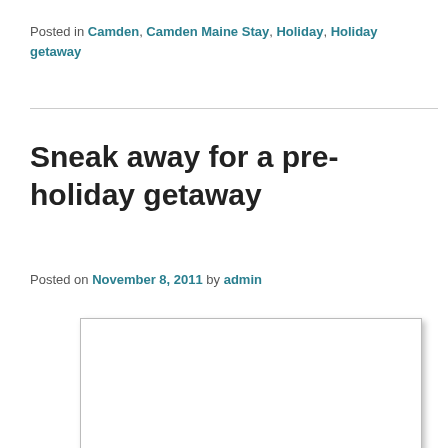Posted in Camden, Camden Maine Stay, Holiday, Holiday getaway
Sneak away for a pre-holiday getaway
Posted on November 8, 2011 by admin
[Figure (photo): Partially visible white image/photo box with shadow at bottom of page]